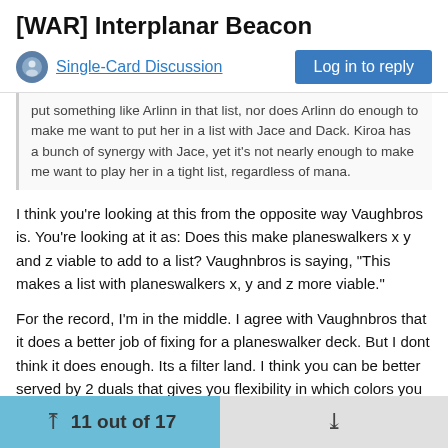[WAR] Interplanar Beacon
Single-Card Discussion
put something like Arlinn in that list, nor does Arlinn do enough to make me want to put her in a list with Jace and Dack. Kiroa has a bunch of synergy with Jace, yet it's not nearly enough to make me want to play her in a tight list, regardless of mana.
I think you're looking at this from the opposite way Vaughbros is. You're looking at it as: Does this make planeswalkers x y and z viable to add to a list? Vaughnbros is saying, "This makes a list with planeswalkers x, y and z more viable."
For the record, I'm in the middle. I agree with Vaughnbros that it does a better job of fixing for a planeswalker deck. But I dont think it does enough. Its a filter land. I think you can be better served by 2 duals that gives you flexibility in which colors you want.
11 out of 17